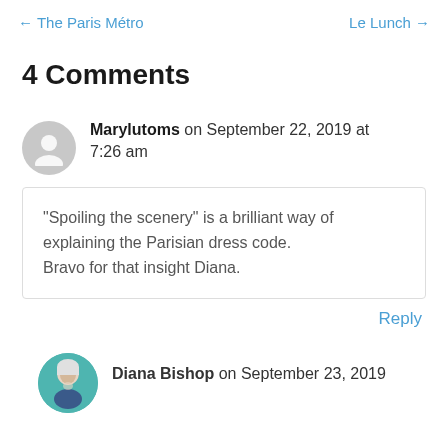← The Paris Métro     Le Lunch →
4 Comments
Marylutoms on September 22, 2019 at 7:26 am
“Spoiling the scenery” is a brilliant way of explaining the Parisian dress code. Bravo for that insight Diana.
Reply
Diana Bishop on September 23, 2019